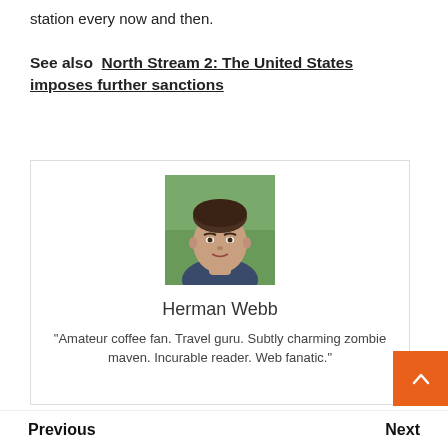station every now and then.
See also  North Stream 2: The United States imposes further sanctions
[Figure (photo): Portrait photo of Herman Webb, a young man with short dark hair, smiling slightly, with green trees in the background.]
Herman Webb
"Amateur coffee fan. Travel guru. Subtly charming zombie maven. Incurable reader. Web fanatic."
Previous    Next